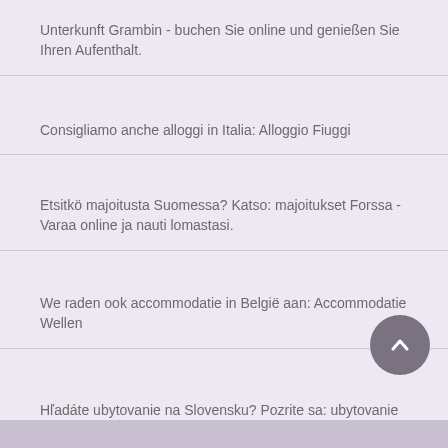Unterkunft Grambin - buchen Sie online und genießen Sie Ihren Aufenthalt.
Consigliamo anche alloggi in Italia: Alloggio Fiuggi
Etsitkö majoitusta Suomessa? Katso: majoitukset Forssa - Varaa online ja nauti lomastasi.
We raden ook accommodatie in België aan: Accommodatie Wellen
Hľadáte ubytovanie na Slovensku? Pozrite sa: ubytovanie Mýto pod Ďumbierom - Rezervujte online a užite si svoju dovolenku.
Mēs iesakām arī izmitināšanu Latvijā: izmitināšanu Lautere